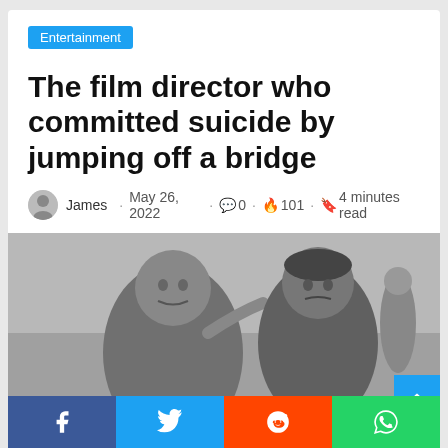Entertainment
The film director who committed suicide by jumping off a bridge
James · May 26, 2022 · 0 · 101 · 4 minutes read
[Figure (photo): Black and white photo of two men, one older pointing at something, one younger looking ahead, with others in background]
Share buttons: Facebook, Twitter, Reddit, WhatsApp